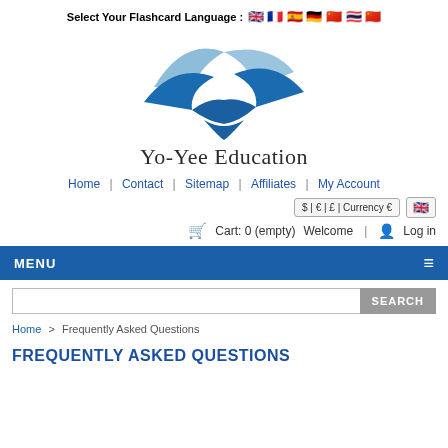Select Your Flashcard Language : 🇬🇧 🇫🇷 🇪🇸 🇩🇪 🇨🇳 🇹🇭 🇨🇳
[Figure (logo): Yo-Yee Education logo with stylized blue bird/wings above brand name text]
Home | Contact | Sitemap | Affiliates | My Account
$ | € | £ | Currency €   [UK flag]
Cart: 0 (empty)   Welcome | Log in
MENU
SEARCH
Home > Frequently Asked Questions
FREQUENTLY ASKED QUESTIONS